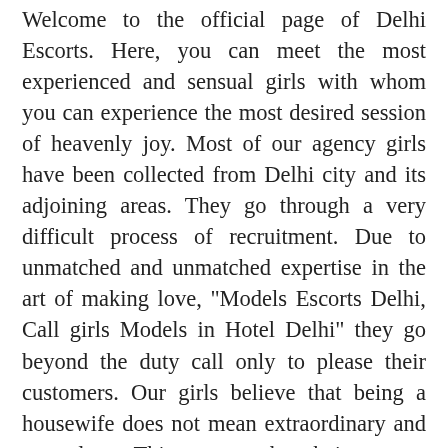Welcome to the official page of Delhi Escorts. Here, you can meet the most experienced and sensual girls with whom you can experience the most desired session of heavenly joy. Most of our agency girls have been collected from Delhi city and its adjoining areas. They go through a very difficult process of recruitment. Due to unmatched and unmatched expertise in the art of making love, "Models Escorts Delhi, Call girls Models in Hotel Delhi" they go beyond the duty call only to please their customers. Our girls believe that being a housewife does not mean extraordinary and powerless. This means that being more energetic inspired by previous experiences.